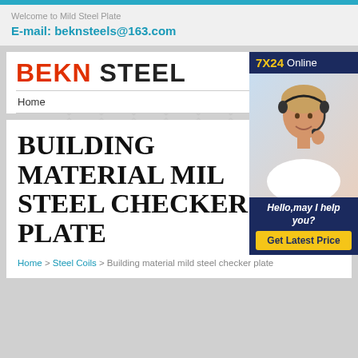Welcome to Mild Steel Plate
E-mail: beknsteels@163.com
[Figure (logo): BEKN STEEL company logo with red BEKN and black STEEL text]
Home
[Figure (photo): Customer service representative with headset, 7X24 Online banner, Hello may I help you text, and Get Latest Price button]
BUILDING MATERIAL MILD STEEL CHECKER PLATE
Home > Steel Coils > Building material mild steel checker plate